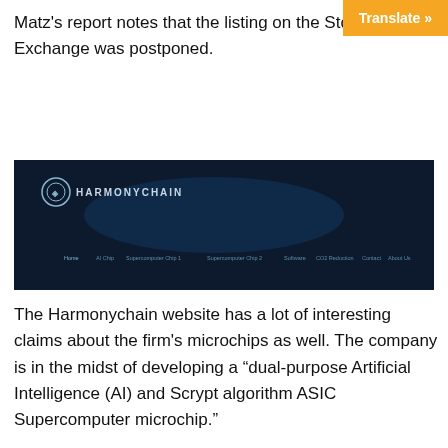Matz's report notes that the listing on the Stock Exchange was postponed.
[Figure (screenshot): Screenshot of the Harmonychain website, showing a dark navy background with the Harmonychain logo and navigation menu items including Home, AI Chip, Supercomputer Chip 1, Supercomputer Chip 2, Software, CO2 Reduction, Contact, About Us, Investor, News.]
The Harmonychain website has a lot of interesting claims about the firm's microchips as well. The company is in the midst of developing a “dual-purpose Artificial Intelligence (AI) and Scrypt algorithm ASIC Supercomputer microchip.”
The harmonychain.com website adds:
[THE MICROCHIP] IS TAILORED TOWARDS